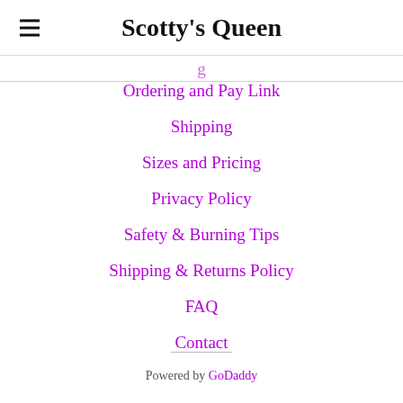Scotty's Queen
Ordering and Pay Link
Shipping
Sizes and Pricing
Privacy Policy
Safety & Burning Tips
Shipping & Returns Policy
FAQ
Contact
Powered by GoDaddy